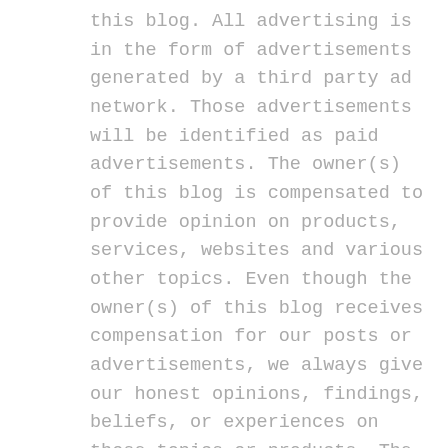this blog. All advertising is in the form of advertisements generated by a third party ad network. Those advertisements will be identified as paid advertisements. The owner(s) of this blog is compensated to provide opinion on products, services, websites and various other topics. Even though the owner(s) of this blog receives compensation for our posts or advertisements, we always give our honest opinions, findings, beliefs, or experiences on those topics or products. The views and opinions expressed on this blog